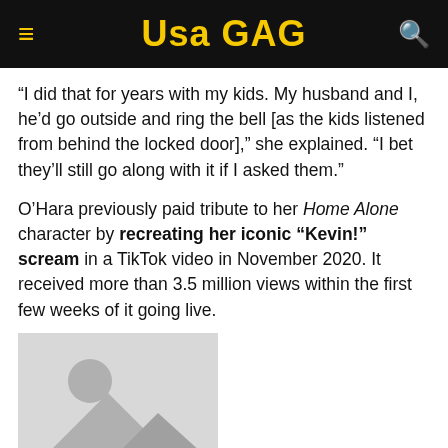USA GAG
“I did that for years with my kids. My husband and I, he’d go outside and ring the bell [as the kids listened from behind the locked door],” she explained. “I bet they’ll still go along with it if I asked them.”
O’Hara previously paid tribute to her Home Alone character by recreating her iconic “Kevin!” scream in a TikTok video in November 2020. It received more than 3.5 million views within the first few weeks of it going live.
[Figure (photo): Placeholder image thumbnail with mountain and circle icon on grey background]
This story originally appeared on: US Magazine -